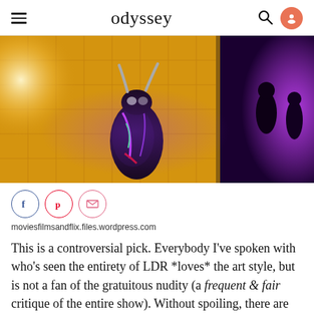odyssey
[Figure (photo): A costumed character in dark futuristic armor with rabbit-like horns stands in a corridor lit with warm golden and purple neon lights. The scene is from a TV show or film, visually arresting and stylized.]
moviesfilmsandflix.files.wordpress.com
This is a controversial pick. Everybody I've spoken with who's seen the entirety of LDR *loves* the art style, but is not a fan of the gratuitous nudity (a frequent & fair critique of the entire show). Without spoiling, there are moments in a club, of sorts, that the visually arresting